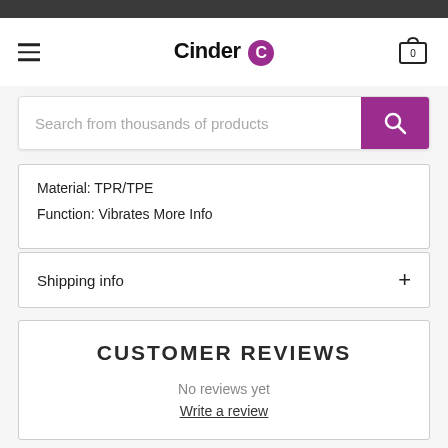Cinder
Search from thousands of products
Material: TPR/TPE
Function: Vibrates More Info
Shipping info
CUSTOMER REVIEWS
No reviews yet
Write a review